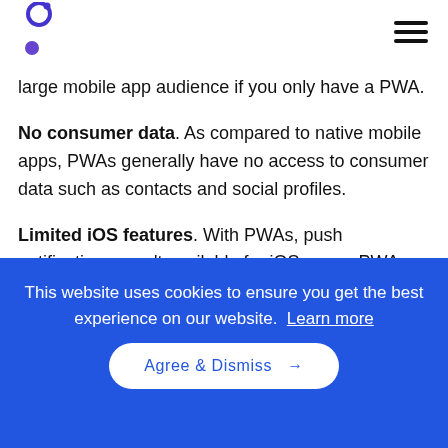[Figure (logo): Purple circular logo icon with dots]
[Figure (other): Hamburger menu icon (three horizontal lines)]
large mobile app audience if you only have a PWA.
No consumer data. As compared to native mobile apps, PWAs generally have no access to consumer data such as contacts and social profiles.
Limited iOS features. With PWAs, push notifications aren't available for iOS users. PWAs can send push notifications
This website uses cookies to ensure you get the best experience on our website. Learn more
Agree & Dismiss →